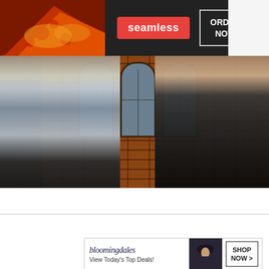[Figure (photo): Seamless food delivery advertisement banner with pizza image, seamless logo in red badge, and ORDER NOW button]
[Figure (photo): Two people standing in front of a brick building with arched windows. Person on left wears a light denim jacket, person on right wears a dark coat.]
KEEP UP-TO-DATE WITH GLIDE
CLOSE
Email A
[Figure (photo): Bloomingdale's advertisement: logo, 'View Today's Top Deals!' text, model with hat, SHOP NOW > button]